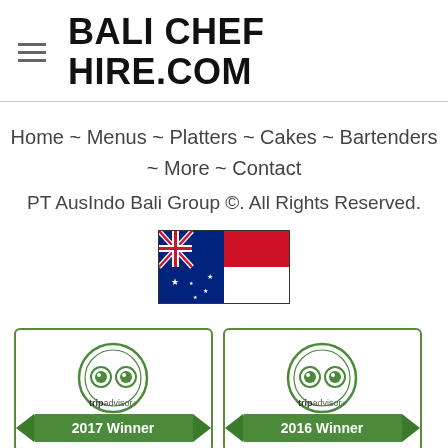BALI CHEF HIRE.COM
Home ~ Menus ~ Platters ~ Cakes ~ Bartenders ~ More ~ Contact
PT AusIndo Bali Group ©. All Rights Reserved.
[Figure (illustration): Side-by-side Australian and Indonesian flags]
[Figure (illustration): TripAdvisor Certificate of Excellence 2017 Winner badge]
[Figure (illustration): TripAdvisor Certificate of Excellence 2016 Winner badge]